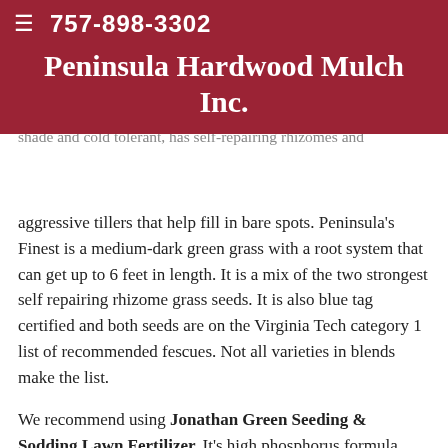Once you have improved and prepare your soil, you are ready to seed. We recommend Peninsula's Finest (Titan Rx & Rendition Rx) grass seed for this area. It is a tall turf type, heat tolerant, disease, pest and drought resistant as well as shade and cold tolerant, has self-repairing rhizomes and
757-898-3302
Peninsula Hardwood Mulch Inc.
aggressive tillers that help fill in bare spots. Peninsula's Finest is a medium-dark green grass with a root system that can get up to 6 feet in length. It is a mix of the two strongest self repairing rhizome grass seeds. It is also blue tag certified and both seeds are on the Virginia Tech category 1 list of recommended fescues. Not all varieties in blends make the list.
We recommend using Jonathan Green Seeding & Sodding Lawn Fertilizer. It's high phosphorus formula helps build a vigorous root system and gets new grass plantings off to a fast start for a thicker, greener lawn, and contains Iron for deep-greening. Apply at same time